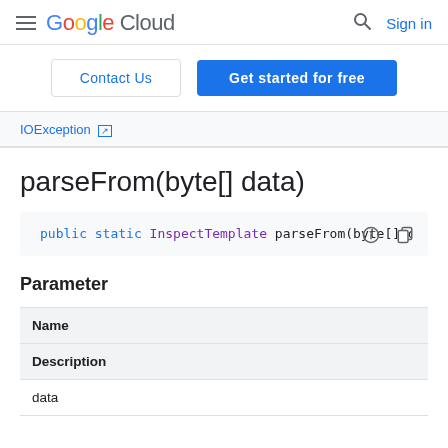Google Cloud — Sign in
Contact Us | Get started for free
IOException (link with external icon)
parseFrom(byte[] data)
public static InspectTemplate parseFrom(byte[] da
Parameter
| Name | Description |
| --- | --- |
| data |  |